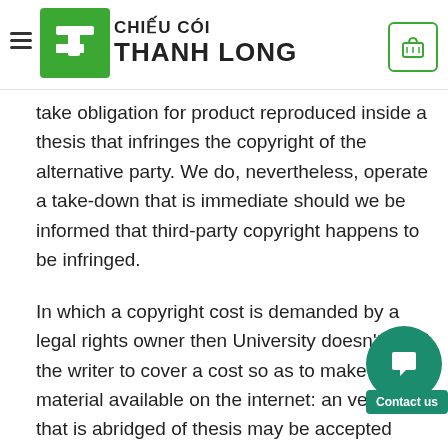[Figure (logo): Chiếu Cói Thanh Long logo with green box containing TL letters and brand name]
thesis with the temporary archiving centre will not aways charge but must just take obligation for product reproduced inside a thesis that infringes the copyright of the alternative party. We do, nevertheless, operate a take-down that is immediate should we be informed that third-party copyright happens to be infringed.
In which a copyright cost is demanded by a legal rights owner then University doesn't need the writer to cover a cost so as to make material available on the internet: an version that is abridged of thesis may be accepted making publicly available. The last complete variation must be submitted but will undoubtedly be completely embargoed.
Unlike submission for assessment, archiving electronic content of a thesis to an on-line repository is considered publishing. Start access is directed at the general public